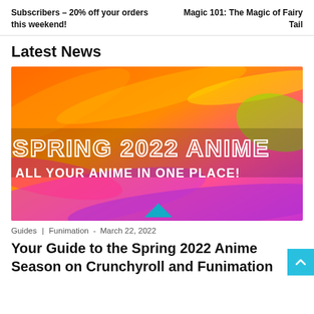Subscribers – 20% off your orders this weekend!  |  Magic 101: The Magic of Fairy Tail
Latest News
[Figure (illustration): Spring 2022 Anime banner with colorful swirling orange, pink, and purple abstract background. Text reads 'SPRING 2022 ANIME' in large outlined white letters and 'ALL YOUR ANIME IN ONE PLACE!' in bold white text below.]
Guides | Funimation - March 22, 2022
Your Guide to the Spring 2022 Anime Season on Crunchyroll and Funimation